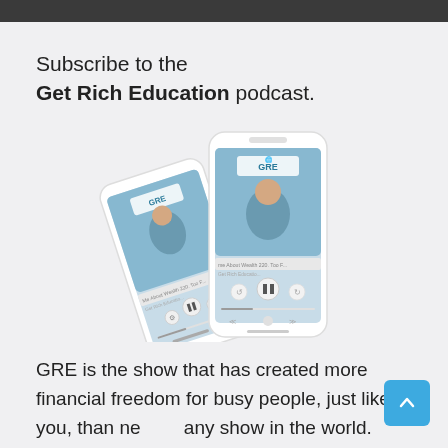Subscribe to the
Get Rich Education podcast.
[Figure (photo): Two smartphones displaying the Get Rich Education podcast app interface, showing a man in a grey blazer on the podcast artwork and playback controls.]
GRE is the show that has created more financial freedom for busy people, just like you, than ne any show in the world. Learn why real estate is the